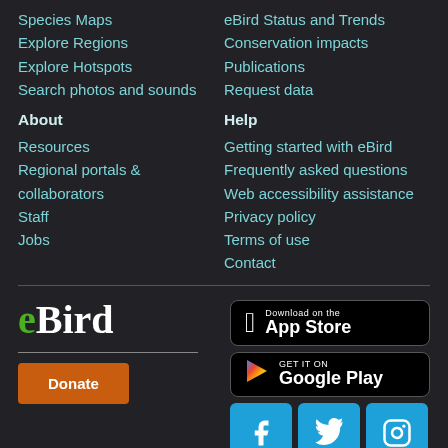Species Maps
Explore Regions
Explore Hotspots
Search photos and sounds
eBird Status and Trends
Conservation impacts
Publications
Request data
About
Help
Resources
Regional portals & collaborators
Staff
Jobs
Getting started with eBird
Frequently asked questions
Web accessibility assistance
Privacy policy
Terms of use
Contact
[Figure (logo): eBird logo with green 'e' and white 'Bird' text]
[Figure (screenshot): Download on the App Store badge]
[Figure (screenshot): Get it on Google Play badge]
[Figure (screenshot): Facebook, Twitter, Instagram social media buttons]